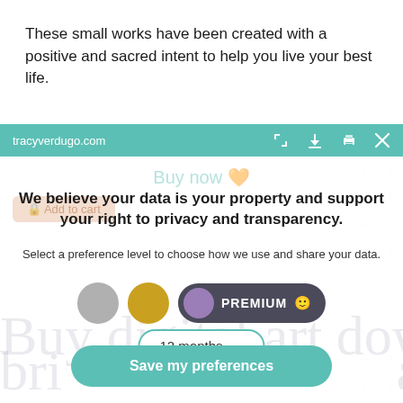These small works have been created with a positive and sacred intent to help you live your best life.
[Figure (screenshot): Browser toolbar in teal with URL tracyverdugo.com and icons for expand, download, print, and close (X)]
We believe your data is your property and support your right to privacy and transparency.
Select a preference level to choose how we use and share your data.
[Figure (infographic): Three tier selection circles: grey, gold, and a dark pill button labeled PREMIUM with a purple circle icon and smiley face]
[Figure (infographic): Dropdown selector showing 12 months with chevron]
Save my preferences